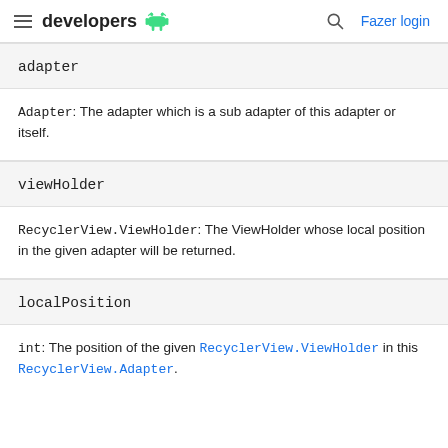developers [android logo] | [search] Fazer login
adapter
Adapter: The adapter which is a sub adapter of this adapter or itself.
viewHolder
RecyclerView.ViewHolder: The ViewHolder whose local position in the given adapter will be returned.
localPosition
int: The position of the given RecyclerView.ViewHolder in this RecyclerView.Adapter.